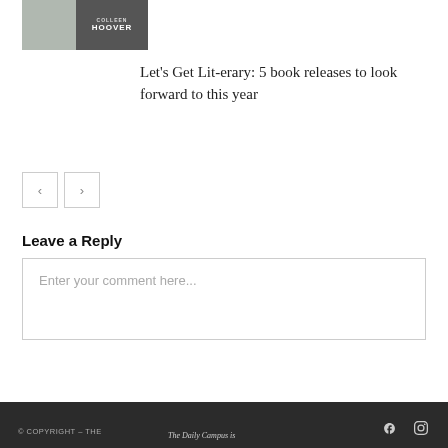[Figure (photo): Book cover thumbnail showing a book by Colleen Hoover, with a person's arm and a grey and dark book cover]
Let’s Get Lit-erary: 5 book releases to look forward to this year
[Figure (other): Navigation previous and next arrow buttons]
Leave a Reply
Enter your comment here...
© COPYRIGHT – THE  |  The Daily Campus is  |  [Facebook icon]  [Instagram icon]